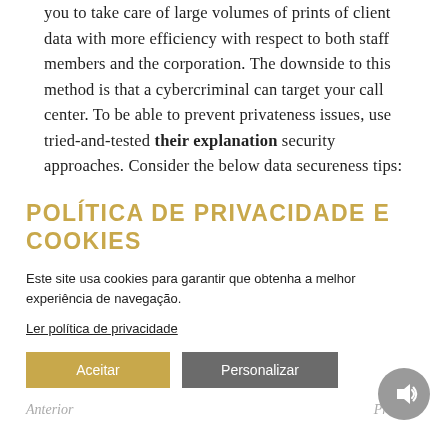you to take care of large volumes of prints of client data with more efficiency with respect to both staff members and the corporation. The downside to this method is that a cybercriminal can target your call center. To be able to prevent privateness issues, use tried-and-tested their explanation security approaches. Consider the below data secureness tips:
POLÍTICA DE PRIVACIDADE E COOKIES
Este site usa cookies para garantir que obtenha a melhor experiência de navegação.
Ler política de privacidade
Aceitar
Personalizar
Anterior
Próximo